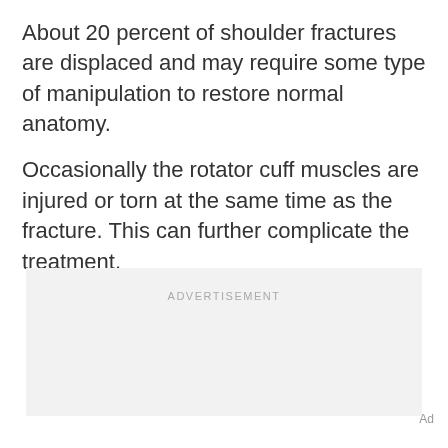About 20 percent of shoulder fractures are displaced and may require some type of manipulation to restore normal anatomy.
Occasionally the rotator cuff muscles are injured or torn at the same time as the fracture. This can further complicate the treatment.
[Figure (other): Advertisement placeholder box with light gray background and centered text 'ADVERTISEMENT']
Ad